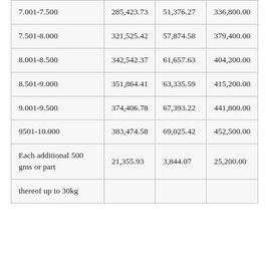| 7.001-7.500 | 285,423.73 | 51,376.27 | 336,800.00 |
| 7.501-8.000 | 321,525.42 | 57,874.58 | 379,400.00 |
| 8.001-8.500 | 342,542.37 | 61,657.63 | 404,200.00 |
| 8.501-9.000 | 351,864.41 | 63,335.59 | 415,200.00 |
| 9.001-9.500 | 374,406.78 | 67,393.22 | 441,800.00 |
| 9501-10.000 | 383,474.58 | 69,025.42 | 452,500.00 |
| Each additional 500 gms or part | 21,355.93 | 3,844.07 | 25,200.00 |
| thereof up to 30kg |  |  |  |